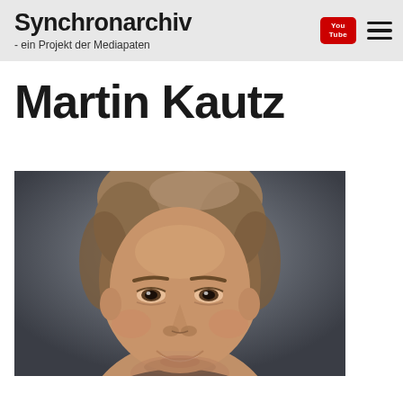Synchronarchiv - ein Projekt der Mediapaten
Martin Kautz
[Figure (photo): Headshot portrait photo of Martin Kautz, a man with short light brown hair, smiling, against a dark grey gradient background.]